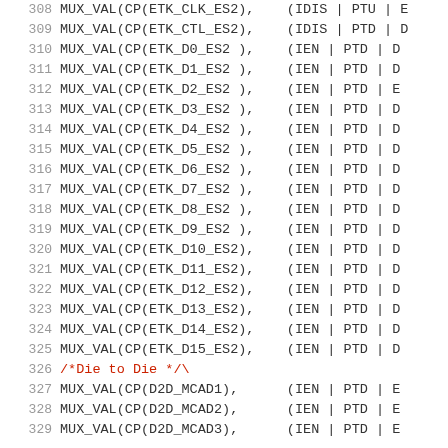308  MUX_VAL(CP(ETK_CLK_ES2),    (IDIS | PTU | E...
309  MUX_VAL(CP(ETK_CTL_ES2),    (IDIS | PTD | D...
310  MUX_VAL(CP(ETK_D0_ES2 ),    (IEN  | PTD | D...
311  MUX_VAL(CP(ETK_D1_ES2 ),    (IEN  | PTD | D...
312  MUX_VAL(CP(ETK_D2_ES2 ),    (IEN  | PTD | E...
313  MUX_VAL(CP(ETK_D3_ES2 ),    (IEN  | PTD | D...
314  MUX_VAL(CP(ETK_D4_ES2 ),    (IEN  | PTD | D...
315  MUX_VAL(CP(ETK_D5_ES2 ),    (IEN  | PTD | D...
316  MUX_VAL(CP(ETK_D6_ES2 ),    (IEN  | PTD | D...
317  MUX_VAL(CP(ETK_D7_ES2 ),    (IEN  | PTD | D...
318  MUX_VAL(CP(ETK_D8_ES2 ),    (IEN  | PTD | D...
319  MUX_VAL(CP(ETK_D9_ES2 ),    (IEN  | PTD | D...
320  MUX_VAL(CP(ETK_D10_ES2),    (IEN  | PTD | D...
321  MUX_VAL(CP(ETK_D11_ES2),    (IEN  | PTD | D...
322  MUX_VAL(CP(ETK_D12_ES2),    (IEN  | PTD | D...
323  MUX_VAL(CP(ETK_D13_ES2),    (IEN  | PTD | D...
324  MUX_VAL(CP(ETK_D14_ES2),    (IEN  | PTD | D...
325  MUX_VAL(CP(ETK_D15_ES2),    (IEN  | PTD | D...
326  /*Die to Die */\
327  MUX_VAL(CP(D2D_MCAD1),      (IEN  | PTD | E...
328  MUX_VAL(CP(D2D_MCAD2),      (IEN  | PTD | E...
329  MUX_VAL(CP(D2D_MCAD3),      (IEN  | PTD | E...